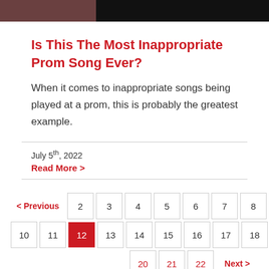[Figure (photo): Dark image bar at top of page, partially showing a photo on the left side]
Is This The Most Inappropriate Prom Song Ever?
When it comes to inappropriate songs being played at a prom, this is probably the greatest example.
July 5th, 2022
Read More >
< Previous  2  3  4  5  6  7  8  9
10  11  12  13  14  15  16  17  18  19
20  21  22  Next >